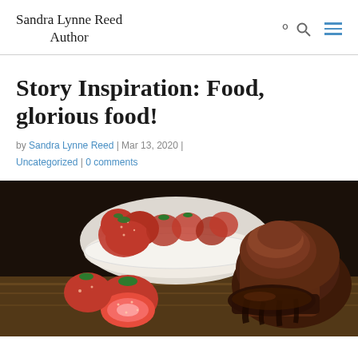Sandra Lynne Reed Author
Story Inspiration: Food, glorious food!
by Sandra Lynne Reed | Mar 13, 2020 | Uncategorized | 0 comments
[Figure (photo): Photo of strawberries in a white bowl and a chocolate lava cake with ganache, on a wooden surface, dark background]